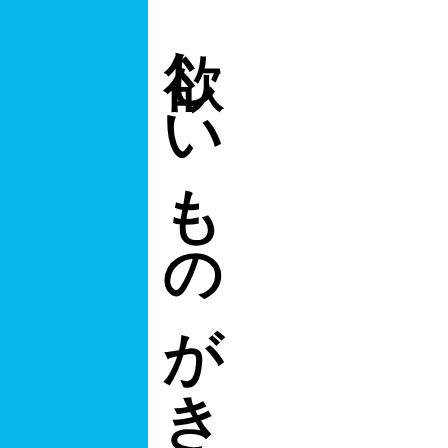欲しいものがきっと見つかります
[Figure (illustration): Shopping cart icon in gray outline style]
○■■ twitt...
○■■ These are tal... blogos...
○■■ □□□□□□□□◆...
○■■ □□□□□□□□◆...
○■■ □□□□□□□□◆ ◆◆... Japanese Trend... epidemic and R... Eng...